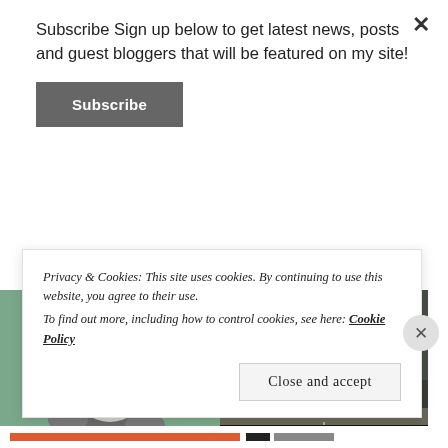Subscribe Sign up below to get latest news, posts and guest bloggers that will be featured on my site!
Subscribe
[Figure (photo): A gray and white cat lying on its back on a teal carpet, looking up at the camera]
[Figure (photo): A street scene under a dark cloudy sky with trees and buildings visible]
[Figure (other): A tan/beige card showing the word REMINDER in large gray uppercase letters with 'Reminder' in cursive script overlaid]
[Figure (photo): Black rectangle placeholder]
Privacy & Cookies: This site uses cookies. By continuing to use this website, you agree to their use.
To find out more, including how to control cookies, see here: Cookie Policy
Close and accept